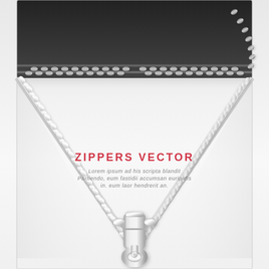[Figure (illustration): Vector illustration of an open zipper against a light/white background. The top portion shows a dark/black closed zipper strip with metallic teeth running horizontally. Below, the zipper opens in a V-shape, revealing the white background inside. The zipper teeth run diagonally from upper-left and upper-right down to a central silver zipper pull/slider near the bottom center. Red text reads 'ZIPPERS VECTOR' and gray italic Lorem Ipsum text appears in the upper middle section of the open area. The zipper pull is a detailed metallic silver piece with a loop at the bottom.]